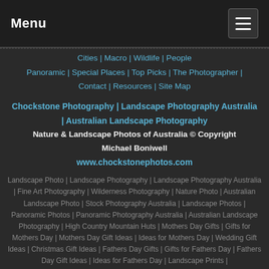Menu
Cities | Macro | Wildlife | People
Panoramic | Special Places | Top Picks | The Photographer |
Contact | Resources | Site Map
Chockstone Photography | Landscape Photography Australia | Australian Landscape Photography
Nature & Landscape Photos of Australia © Copyright Michael Boniwell
www.chockstonephotos.com
Landscape Photo | Landscape Photography | Landscape Photography Australia | Fine Art Photography | Wilderness Photography | Nature Photo | Australian Landscape Photo | Stock Photography Australia | Landscape Photos | Panoramic Photos | Panoramic Photography Australia | Australian Landscape Photography | High Country Mountain Huts | Mothers Day Gifts | Gifts for Mothers Day | Mothers Day Gift Ideas | Ideas for Mothers Day | Wedding Gift Ideas | Christmas Gift Ideas | Fathers Day Gifts | Gifts for Fathers Day | Fathers Day Gift Ideas | Ideas for Fathers Day | Landscape Prints |